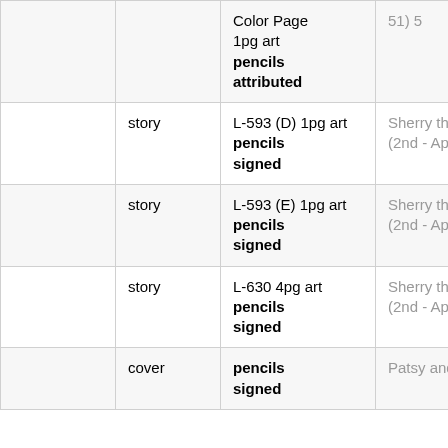|  |  |  |  |
| --- | --- | --- | --- |
|  |  | Color Page 1pg art pencils attributed | 51) 5 |
|  | story | L-593 (D) 1pg art pencils signed | Sherry the Showgirl (2nd - Apr 57) 5 |
|  | story | L-593 (E) 1pg art pencils signed | Sherry the Showgirl (2nd - Apr 57) 5 |
|  | story | L-630 4pg art pencils signed | Sherry the Showgirl (2nd - Apr 57) 5 |
|  | cover | pencils signed | Patsy and Hedy 53 |